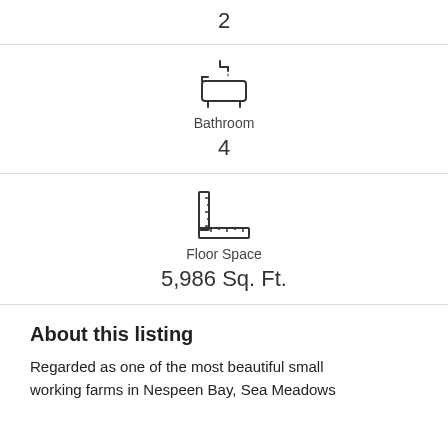2
[Figure (illustration): Bathtub icon]
Bathroom
4
[Figure (illustration): Floor space / ruler measuring icon]
Floor Space
5,986 Sq. Ft.
About this listing
Regarded as one of the most beautiful small working farms in Nespeen Bay, Sea Meadows...